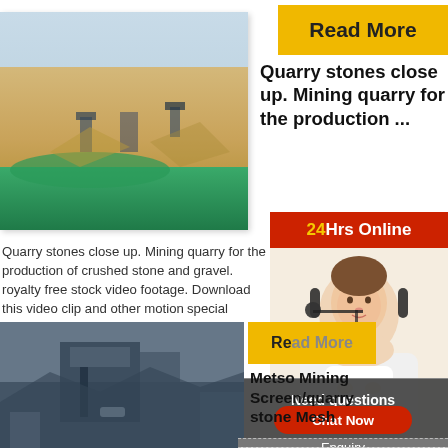[Figure (photo): Quarry mining site with yellow sandy rock walls, green water pool at bottom, and industrial equipment]
Read More
Quarry stones close up. Mining quarry for the production ...
24Hrs Online
[Figure (photo): Customer service agent woman wearing headset smiling]
Quarry stones close up. Mining quarry for the production of crushed stone and gravel. royalty free stock video footage. Download this video clip and other motion special effects, After Effects templates and more.
[Figure (photo): Mining screen/quarry stone mesh machinery at a quarry site]
Read More
Metso Mining Screen/quarry stone Mesh
Need questions & suggestion?
Chat Now
Enquiry
limingjlmofen